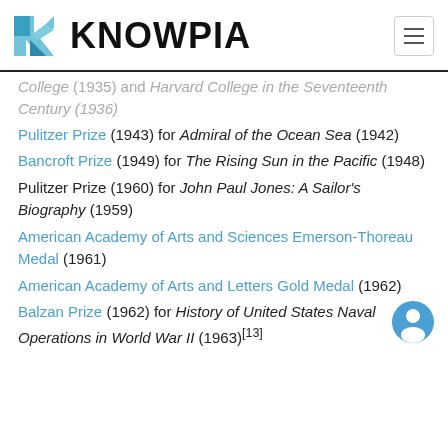KNOWPIA
College (1935) and Harvard College in the Seventeenth Century (1936)
Pulitzer Prize (1943) for Admiral of the Ocean Sea (1942)
Bancroft Prize (1949) for The Rising Sun in the Pacific (1948)
Pulitzer Prize (1960) for John Paul Jones: A Sailor's Biography (1959)
American Academy of Arts and Sciences Emerson-Thoreau Medal (1961)
American Academy of Arts and Letters Gold Medal (1962)
Balzan Prize (1962) for History of United States Naval Operations in World War II (1963)[13]